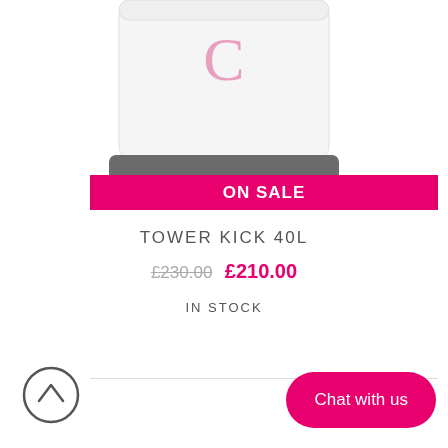[Figure (photo): White rectangular pedal bin (Tower Kick 40L) with a pink letter C logo on the front and a dark grey base with a foot pedal. Product is shown on a white background, cropped at the top.]
ON SALE
TOWER KICK 40L
£230.00  £210.00
IN STOCK
[Figure (other): Back to top arrow button (circle with upward chevron)]
Chat with us